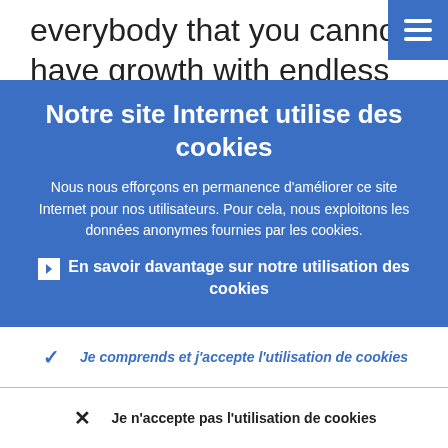everybody that you cannot have growth with endless debt creation. Sooner or later
Notre site Internet utilise des cookies
Nous nous efforçons en permanence d'améliorer ce site Internet pour nos utilisateurs. Pour cela, nous exploitons les données anonymes fournies par les cookies.
En savoir davantage sur notre utilisation des cookies
Je comprends et j'accepte l'utilisation de cookies
Je n'accepte pas l'utilisation de cookies